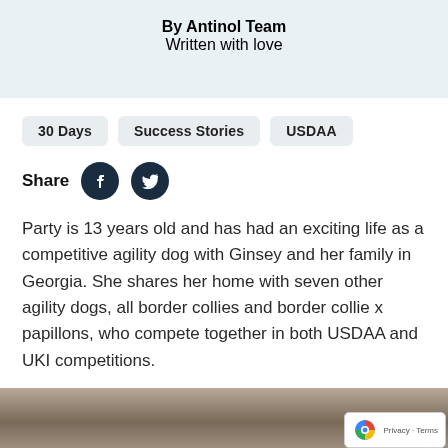By Antinol Team
Written with love
30 Days
Success Stories
USDAA
Share
Party is 13 years old and has had an exciting life as a competitive agility dog with Ginsey and her family in Georgia. She shares her home with seven other agility dogs, all border collies and border collie x papillons, who compete together in both USDAA and UKI competitions.
[Figure (photo): Partial view of an outdoor scene with wooden fencing and a structure, bottom of the page]